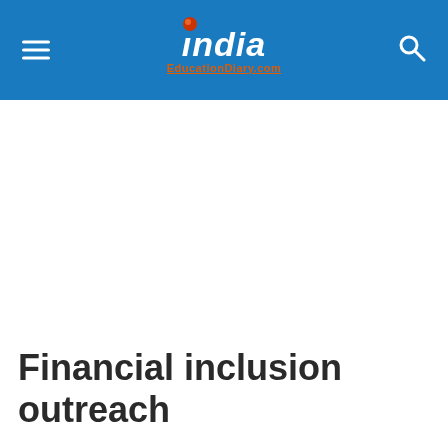India EducationDiary.com
Financial inclusion outreach